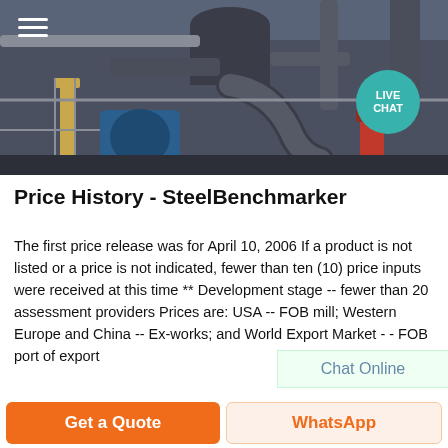[Figure (photo): Industrial machinery / steel plant equipment photo showing large pipes, motors, and scaffolding in a factory setting]
Price History - SteelBenchmarker
The first price release was for April 10, 2006 If a product is not listed or a price is not indicated, fewer than ten (10) price inputs were received at this time ** Development stage -- fewer than 20 assessment providers Prices are: USA -- FOB mill; Western Europe and China -- Ex-works; and World Export Market - - FOB port of export
Chat Online
Get a Quote
WhatsApp